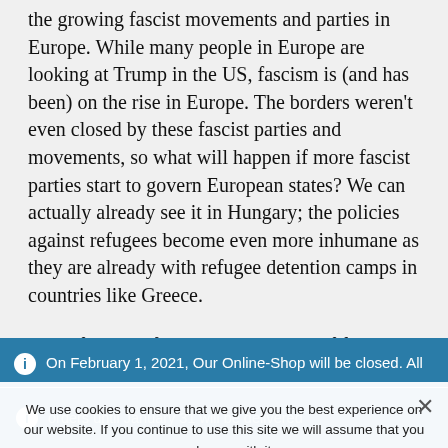the growing fascist movements and parties in Europe. While many people in Europe are looking at Trump in the US, fascism is (and has been) on the rise in Europe. The borders weren't even closed by these fascist parties and movements, so what will happen if more fascist parties start to govern European states? We can actually already see it in Hungary; the policies against refugees become even more inhumane as they are already with refugee detention camps in countries like Greece.
Apart from the fight against the rise of fascist
On February 1, 2021, Our Online-Shop will be closed. All orders until January 31 will be delivered
Dismiss
We use cookies to ensure that we give you the best experience on our website. If you continue to use this site we will assume that you are happy with it.